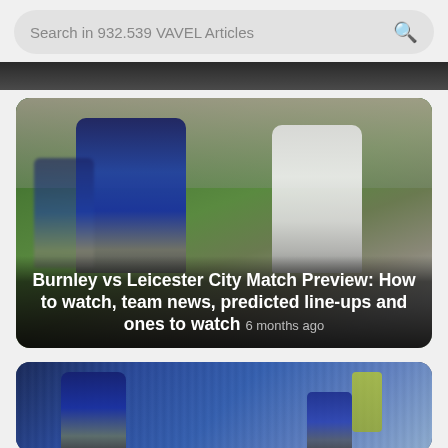Search in 932.539 VAVEL Articles
[Figure (photo): Football match action photo showing a Leicester City player in blue kit (FBS sponsor) competing against a Burnley player in white kit (SPREAD EX sponsor) on a green pitch with crowd in background]
Burnley vs Leicester City Match Preview: How to watch, team news, predicted line-ups and ones to watch  6 months ago
[Figure (photo): Football celebration photo showing a Leicester City player in blue kit celebrating in front of a crowd of supporters]